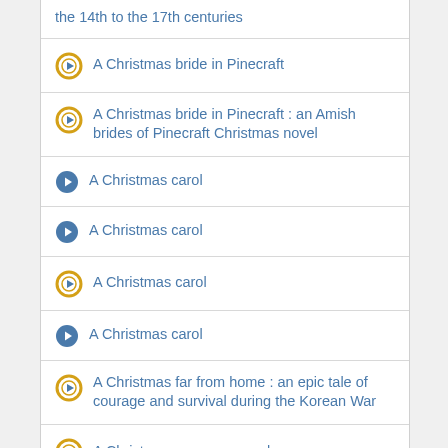the 14th to the 17th centuries
A Christmas bride in Pinecraft
A Christmas bride in Pinecraft : an Amish brides of Pinecraft Christmas novel
A Christmas carol
A Christmas carol
A Christmas carol
A Christmas carol
A Christmas far from home : an epic tale of courage and survival during the Korean War
A Christmas grace : a novel